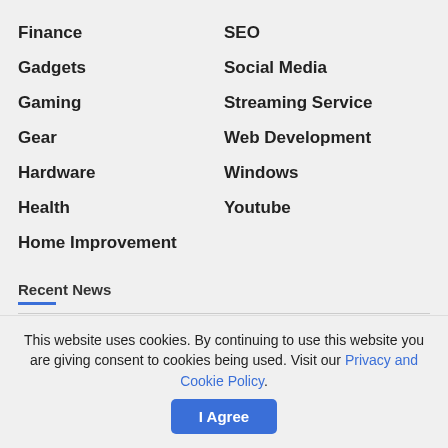Finance
Gadgets
Gaming
Gear
Hardware
Health
Home Improvement
SEO
Social Media
Streaming Service
Web Development
Windows
Youtube
Recent News
5 Tips On How To Level Up Fast in Modern
This website uses cookies. By continuing to use this website you are giving consent to cookies being used. Visit our Privacy and Cookie Policy.
I Agree